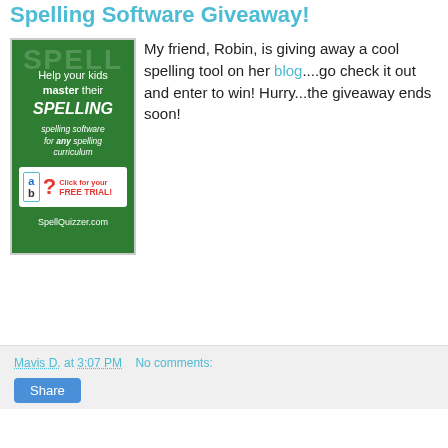Spelling Software Giveaway!
[Figure (illustration): Advertisement image for SpellQuizzer.com spelling software on a green background. Text reads: Help your kids master their SPELLING, spelling software for any spelling curriculum, Click for your FREE TRIAL! SpellQuizzer.com. Features an 'ab?' logo with question mark.]
My friend, Robin, is giving away a cool spelling tool on her blog....go check it out and enter to win! Hurry...the giveaway ends soon!
Mavis D. at 3:07 PM    No comments:
Share